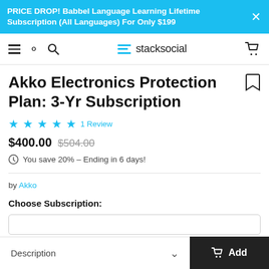PRICE DROP! Babbel Language Learning Lifetime Subscription (All Languages) For Only $199
[Figure (screenshot): StackSocial navigation bar with hamburger menu, search icon, logo, and cart icon]
Akko Electronics Protection Plan: 3-Yr Subscription
★★★★★ 1 Review
$400.00  $504.00
⊙ You save 20% – Ending in 6 days!
by Akko
Choose Subscription:
Description